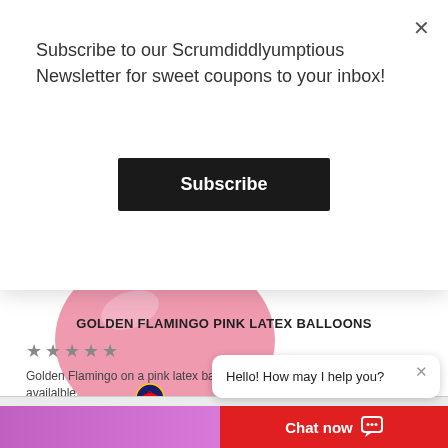Subscribe to our Scrumdiddlyumptious Newsletter for sweet coupons to your inbox!
Subscribe
[Figure (photo): Pink latex balloon with golden flamingo design and Qualatex logo badge]
GOLDEN FLAMINGO PINK LATEX BALLOONS
★★★★★
Golden Flamingo on a pink latex balloon! Limited quantities availalble.
$3.99 – $59.95
Hello! How may I help you?
Chat now